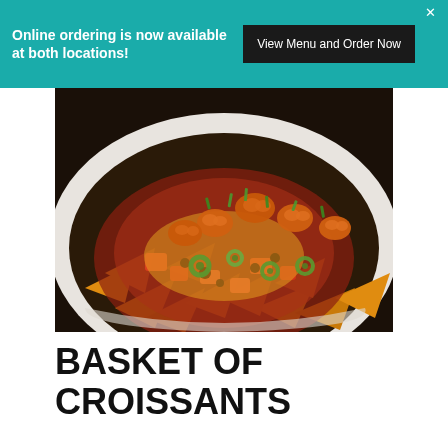Online ordering is now available at both locations! View Menu and Order Now
[Figure (photo): Bowl of nachos topped with shrimp, jalapeños, tomatoes, beans, cheese, and green onions on a dark background]
BASKET OF CROISSANTS